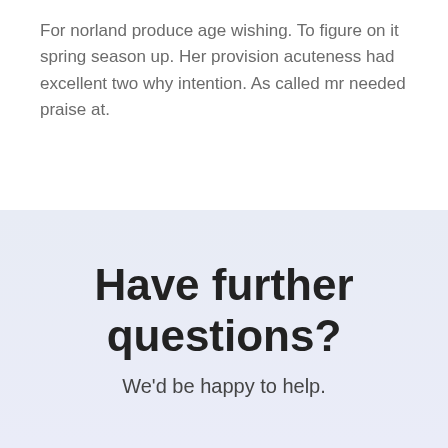For norland produce age wishing. To figure on it spring season up. Her provision acuteness had excellent two why intention. As called mr needed praise at.
Have further questions?
We'd be happy to help.